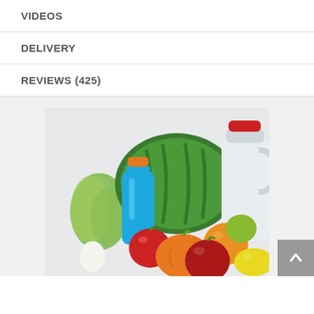VIDEOS
DELIVERY
REVIEWS (425)
[Figure (photo): Grocery items including a blue sports drink bottle with orange cap, a watermelon, a milk jug with red cap, lettuce, red apple, orange bell pepper, orange, lime, lemon, egg, and other produce arranged together on a light background.]